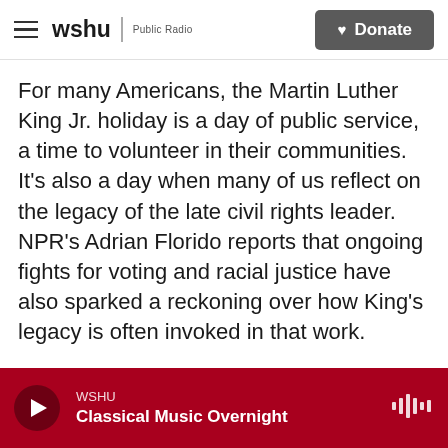wshu | Public Radio  [Donate]
For many Americans, the Martin Luther King Jr. holiday is a day of public service, a time to volunteer in their communities. It's also a day when many of us reflect on the legacy of the late civil rights leader. NPR's Adrian Florido reports that ongoing fights for voting and racial justice have also sparked a reckoning over how King's legacy is often invoked in that work.
ADRIAN FLORIDO, BYLINE: When he was in Georgia last week calling on the Senate to pass federal voting rights legislation, President Biden had this prediction for how those opposing that legislation would be judged if he didn't…
WSHU — Classical Music Overnight